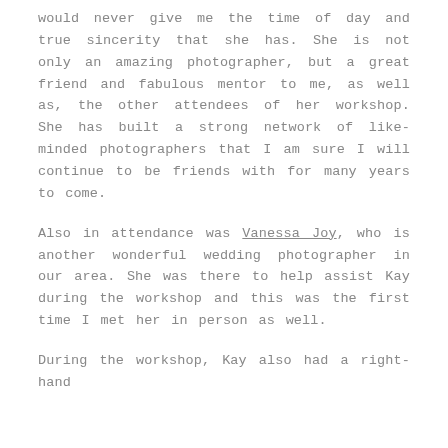would never give me the time of day and true sincerity that she has. She is not only an amazing photographer, but a great friend and fabulous mentor to me, as well as, the other attendees of her workshop. She has built a strong network of like-minded photographers that I am sure I will continue to be friends with for many years to come.
Also in attendance was Vanessa Joy, who is another wonderful wedding photographer in our area. She was there to help assist Kay during the workshop and this was the first time I met her in person as well.
During the workshop, Kay also had a right-hand...